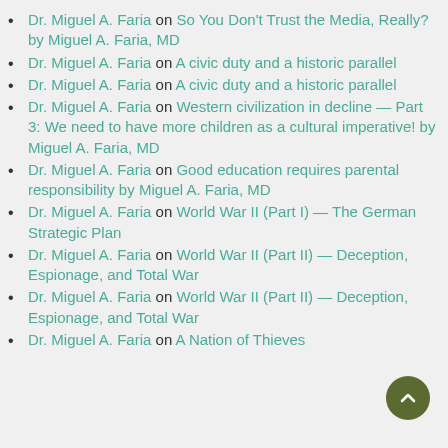Dr. Miguel A. Faria on So You Don't Trust the Media, Really? by Miguel A. Faria, MD
Dr. Miguel A. Faria on A civic duty and a historic parallel
Dr. Miguel A. Faria on A civic duty and a historic parallel
Dr. Miguel A. Faria on Western civilization in decline — Part 3: We need to have more children as a cultural imperative! by Miguel A. Faria, MD
Dr. Miguel A. Faria on Good education requires parental responsibility by Miguel A. Faria, MD
Dr. Miguel A. Faria on World War II (Part I) — The German Strategic Plan
Dr. Miguel A. Faria on World War II (Part II) — Deception, Espionage, and Total War
Dr. Miguel A. Faria on World War II (Part II) — Deception, Espionage, and Total War
Dr. Miguel A. Faria on A Nation of Thieves